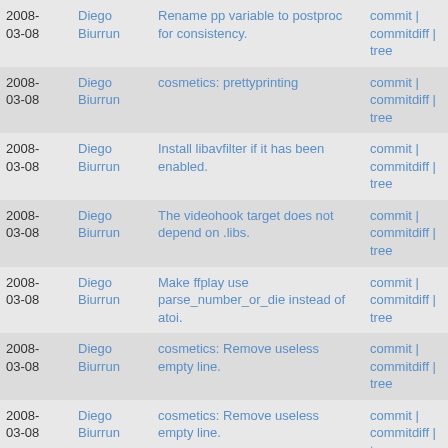| Date | Author | Message | Actions |
| --- | --- | --- | --- |
| 2008-03-08 | Diego Biurrun | Rename pp variable to postproc for consistency. | commit | commitdiff | tree |
| 2008-03-08 | Diego Biurrun | cosmetics: prettyprinting | commit | commitdiff | tree |
| 2008-03-08 | Diego Biurrun | Install libavfilter if it has been enabled. | commit | commitdiff | tree |
| 2008-03-08 | Diego Biurrun | The videohook target does not depend on .libs. | commit | commitdiff | tree |
| 2008-03-08 | Diego Biurrun | Make ffplay use parse_number_or_die instead of atoi. | commit | commitdiff | tree |
| 2008-03-08 | Diego Biurrun | cosmetics: Remove useless empty line. | commit | commitdiff | tree |
| 2008-03-08 | Diego Biurrun | cosmetics: Remove useless empty line. | commit | commitdiff | tree |